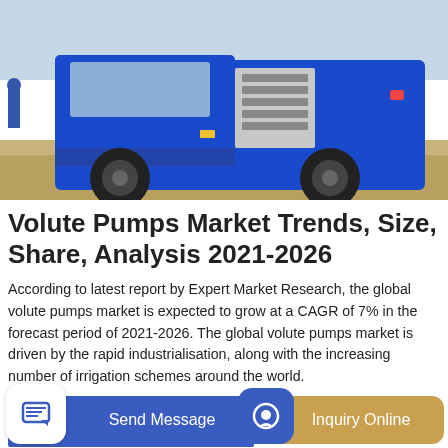[Figure (photo): Photo of a blue industrial truck/vehicle at a construction or mining site with sandy terrain in background]
Volute Pumps Market Trends, Size, Share, Analysis 2021-2026
According to latest report by Expert Market Research, the global volute pumps market is expected to grow at a CAGR of 7% in the forecast period of 2021-2026. The global volute pumps market is driven by the rapid industrialisation, along with the increasing number of irrigation schemes around the world.
GET A QUOTE
[Figure (photo): Photo of a yellow industrial machine/equipment inside a warehouse or industrial facility]
Send Message
Inquiry Online